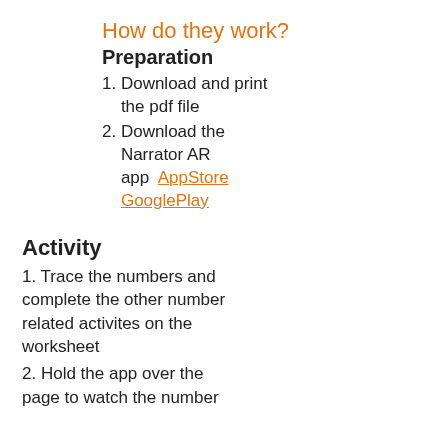How do they work?
Preparation
1. Download and print the pdf file
2. Download the Narrator AR app  AppStore GooglePlay
Activity
1. Trace the numbers and complete the other number related activites on the worksheet
2. Hold the app over the page to watch the number